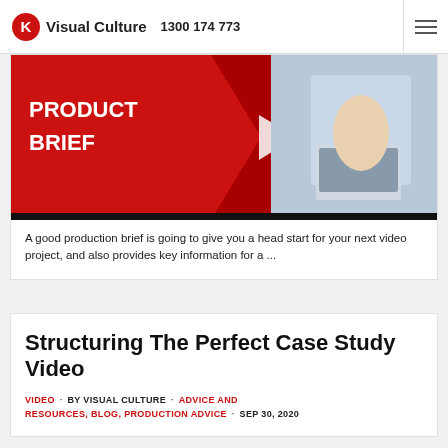Visual Culture  1300 174 773
[Figure (screenshot): Thumbnail image showing a red banner with text PRODUCT BRIEF and a person using a laptop in a bright office setting.]
A good production brief is going to give you a head start for your next video project, and also provides key information for a ...
Structuring The Perfect Case Study Video
VIDEO · BY VISUAL CULTURE · ADVICE AND RESOURCES, BLOG, PRODUCTION ADVICE · SEP 30, 2020